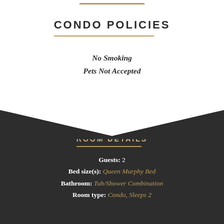CONDO POLICIES
No Smoking
Pets Not Accepted
ROOM DETAILS
Guests: 2
Bed size(s): Queen Murphy Bed
Bathroom: Tub/Shower Combination
Room type: Condo, Sleeps 2